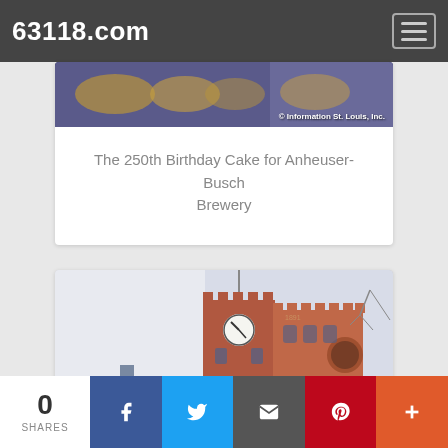63118.com
[Figure (photo): Partial photo of a decorative item with blue and gold pattern, with copyright overlay text '© Information St. Louis, Inc.']
The 250th Birthday Cake for Anheuser-Busch Brewery
[Figure (photo): Photo of a red brick clock tower building (Anheuser-Busch Brewery) with a white clock face, battlements, and Gothic-style windows]
0 SHARES | Facebook | Twitter | Email | Pinterest | More